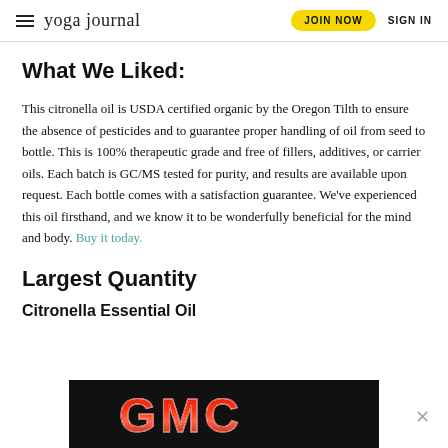yoga journal — JOIN NOW   SIGN IN
What We Liked:
This citronella oil is USDA certified organic by the Oregon Tilth to ensure the absence of pesticides and to guarantee proper handling of oil from seed to bottle. This is 100% therapeutic grade and free of fillers, additives, or carrier oils. Each batch is GC/MS tested for purity, and results are available upon request. Each bottle comes with a satisfaction guarantee. We've experienced this oil firsthand, and we know it to be wonderfully beneficial for the mind and body. Buy it today.
Largest Quantity
Citronella Essential Oil
[Figure (logo): GMC automobile brand logo in red and silver lettering on black background with an advertisement banner]